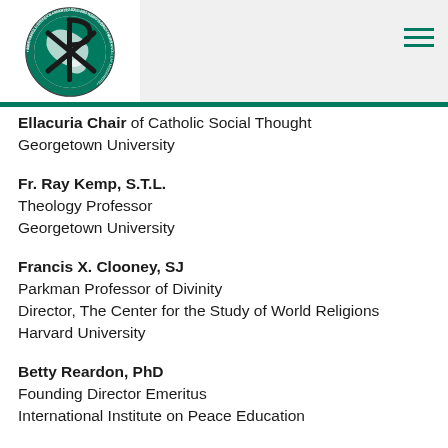[Figure (logo): Maryknoll Sisters Fathers & Brothers circular logo with Chi-Rho symbol over globe]
Ellacuria Chair of Catholic Social Thought
Georgetown University
Fr. Ray Kemp, S.T.L.
Theology Professor
Georgetown University
Francis X. Clooney, SJ
Parkman Professor of Divinity
Director, The Center for the Study of World Religions
Harvard University
Betty Reardon, PhD
Founding Director Emeritus
International Institute on Peace Education